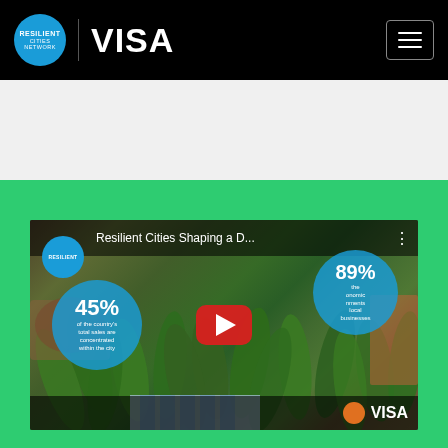Resilient Cities Network | VISA
[Figure (screenshot): YouTube video thumbnail titled 'Resilient Cities Shaping a D...' showing a market scene with cucumbers/vegetables. Features two blue info circles: '45% of the country's total sales are concentrated within the city' and '89%' with partial text about economic environments and local businesses. A red YouTube play button is centered. VISA logo appears in bottom right. Resilient Cities Network badge shown top left.]